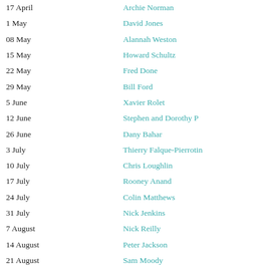17 April — Archie Norman
1 May — David Jones
08 May — Alannah Weston
15 May — Howard Schultz
22 May — Fred Done
29 May — Bill Ford
5 June — Xavier Rolet
12 June — Stephen and Dorothy P
26 June — Dany Bahar
3 July — Thierry Falque-Pierrotin
10 July — Chris Loughlin
17 July — Rooney Anand
24 July — Colin Matthews
31 July — Nick Jenkins
7 August — Nick Reilly
14 August — Peter Jackson
21 August — Sam Moody
28 August — Miles Roberts
4 September — Richard Harpin
18 September — Richard Desmond
25 September — Elizabeth Corley
2 October — Lord Levene
9 October — Stephen Stone